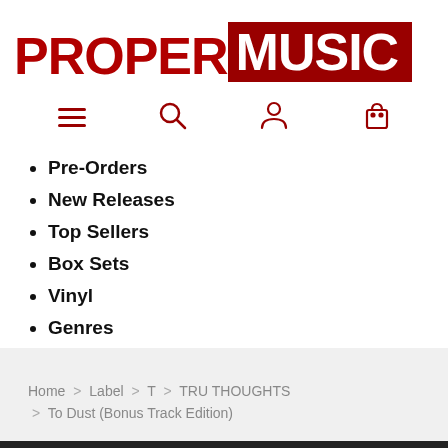[Figure (logo): Proper Music logo: 'PROPER' in dark red, 'MUSIC' in white on dark red background]
[Figure (infographic): Navigation icons row: hamburger menu, search (magnifying glass), user/account, shopping bag — all in dark red]
Pre-Orders
New Releases
Top Sellers
Box Sets
Vinyl
Genres
Home > Label > T > TRU THOUGHTS > To Dust (Bonus Track Edition)
[Figure (photo): Partial dark image visible at bottom of page]